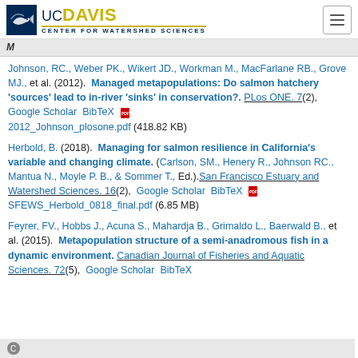[Figure (logo): UC Davis Center for Watershed Sciences logo with blue and gold text and fish icon]
M
Johnson, RC., Weber PK., Wikert JD., Workman M., MacFarlane RB., Grove MJ., et al. (2012). Managed metapopulations: Do salmon hatchery 'sources' lead to in-river 'sinks' in conservation?. PLos ONE. 7(2), Google Scholar BibTeX 2012_Johnson_plosone.pdf (418.82 KB)
Herbold, B. (2018). Managing for salmon resilience in California's variable and changing climate. (Carlson, SM., Henery R., Johnson RC., Mantua N., Moyle P. B., & Sommer T., Ed.).San Francisco Estuary and Watershed Sciences. 16(2), Google Scholar BibTeX SFEWS_Herbold_0818_final.pdf (6.85 MB)
Feyrer, FV., Hobbs J., Acuna S., Mahardja B., Grimaldo L., Baerwald B., et al. (2015). Metapopulation structure of a semi-anadromous fish in a dynamic environment. Canadian Journal of Fisheries and Aquatic Sciences. 72(5), Google Scholar BibTeX